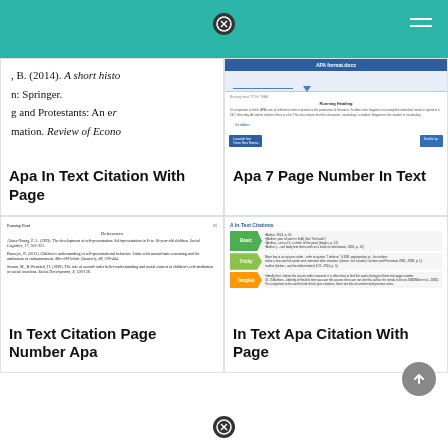[Figure (screenshot): Teal navigation header bar with close icon and hamburger menu]
[Figure (screenshot): Cropped document page showing APA reference list entries in Times New Roman serif font, partially visible]
[Figure (screenshot): APA format.docx document preview showing blue header bar, running head, Scribber label, and double space button]
Apa In Text Citation With Page
Apa 7 Page Number In Text
[Figure (screenshot): References page showing running head, reference entries including Aloise-Young P.A., Banerjee R., Swann M. & Wenzlaff H.]
[Figure (screenshot): A In-Text Citations diagram with chevron arrows labeled Basic (green), Tricky (yellow-green), Tangled (orange) with citation examples]
In Text Citation Page Number Apa
In Text Apa Citation With Page